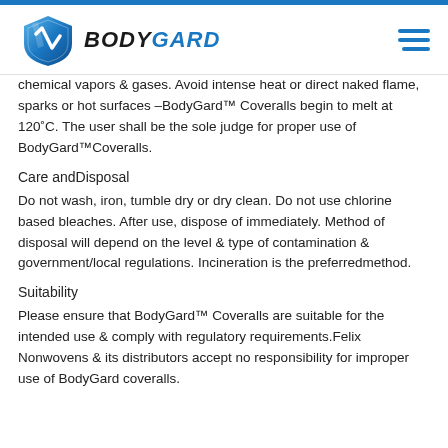BodyGard logo header
chemical vapors & gases. Avoid intense heat or direct naked flame, sparks or hot surfaces –BodyGard™ Coveralls begin to melt at 120˚C. The user shall be the sole judge for proper use of BodyGard™Coveralls.
Care andDisposal
Do not wash, iron, tumble dry or dry clean. Do not use chlorine based bleaches. After use, dispose of immediately. Method of disposal will depend on the level & type of contamination & government/local regulations. Incineration is the preferredmethod.
Suitability
Please ensure that BodyGard™ Coveralls are suitable for the intended use & comply with regulatory requirements.Felix Nonwovens & its distributors accept no responsibility for improper use of BodyGard coveralls.